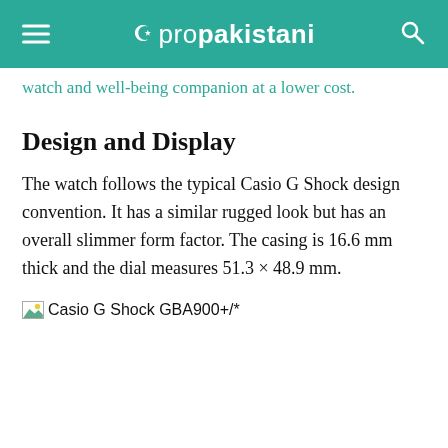propakistani
watch and well-being companion at a lower cost.
Design and Display
The watch follows the typical Casio G Shock design convention. It has a similar rugged look but has an overall slimmer form factor. The casing is 16.6 mm thick and the dial measures 51.3 × 48.9 mm.
[Figure (photo): Broken image placeholder labeled 'Casio G Shock GBA900+/*']